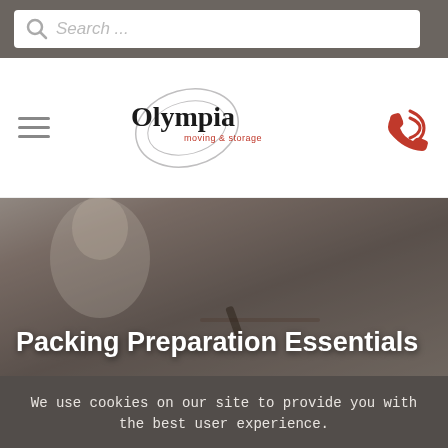Search ...
[Figure (logo): Olympia moving & storage logo with hamburger menu icon on left and red phone icon on right]
[Figure (photo): Hero banner photo of a woman writing/taking notes, with dark overlay]
Packing Preparation Essentials
We use cookies on our site to provide you with the best user experience.
Read cookie policy
OK